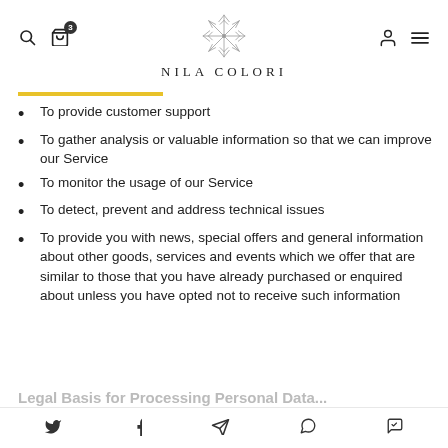NILA COLORI — site header with logo, search, cart, user, menu icons
To provide customer support
To gather analysis or valuable information so that we can improve our Service
To monitor the usage of our Service
To detect, prevent and address technical issues
To provide you with news, special offers and general information about other goods, services and events which we offer that are similar to those that you have already purchased or enquired about unless you have opted not to receive such information
Legal Basis for Processing Personal Data...
Social share icons: Twitter, Facebook, Telegram, WhatsApp, Messenger